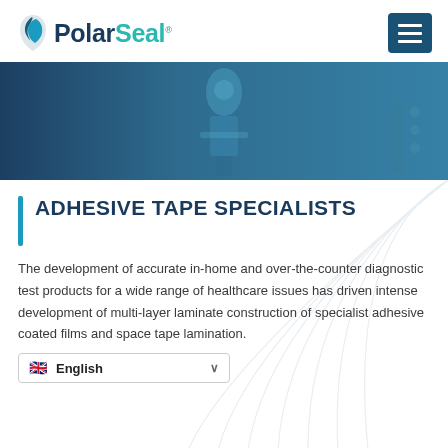PolarSeal
[Figure (photo): Industrial machinery/equipment with blue tint overlay — adhesive tape manufacturing equipment]
ADHESIVE TAPE SPECIALISTS
The development of accurate in-home and over-the-counter diagnostic test products for a wide range of healthcare issues has driven intense development of multi-layer laminate construction of specialist adhesive coated films and space tape lamination.